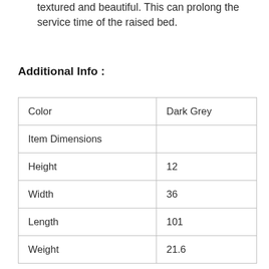textured and beautiful. This can prolong the service time of the raised bed.
Additional Info :
| Color | Dark Grey |
| Item Dimensions |  |
| Height | 12 |
| Width | 36 |
| Length | 101 |
| Weight | 21.6 |